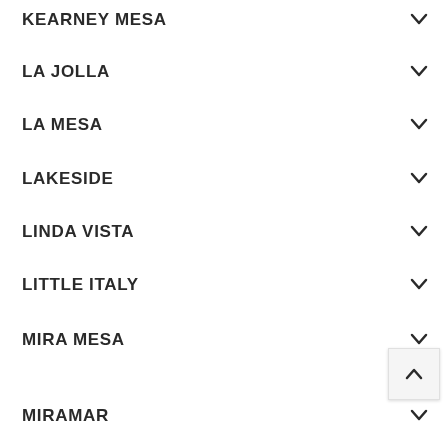KEARNEY MESA
LA JOLLA
LA MESA
LAKESIDE
LINDA VISTA
LITTLE ITALY
MIRA MESA
MIRAMAR